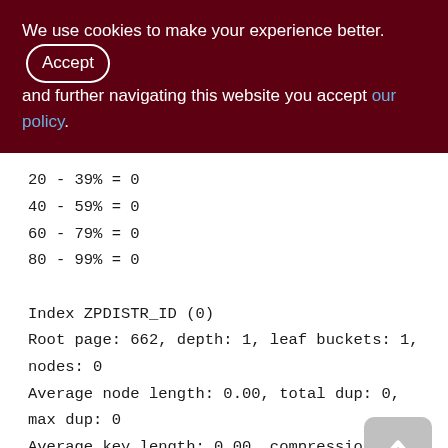We use cookies to make your experience better. By accepting and further navigating this website you accept our policy.
20 - 39% = 0
40 - 59% = 0
60 - 79% = 0
80 - 99% = 0

Index ZPDISTR_ID (0)
Root page: 662, depth: 1, leaf buckets: 1,
nodes: 0
Average node length: 0.00, total dup: 0,
max dup: 0
Average key length: 0.00, compression
ratio: 0.00